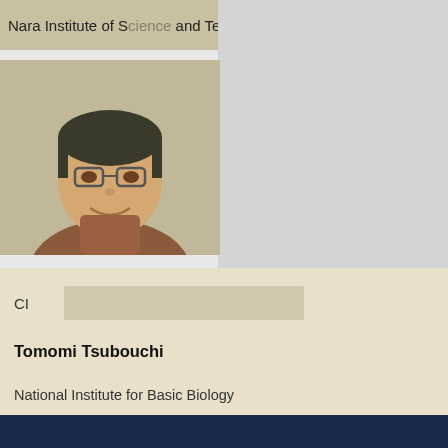Nara Institute of Science and Technology
[Figure (photo): Portrait photo of a man with glasses, smiling]
CI
Tomomi Tsubouchi
National Institute for Basic Biology
[Figure (photo): Portrait photo of a woman smiling, dark background]